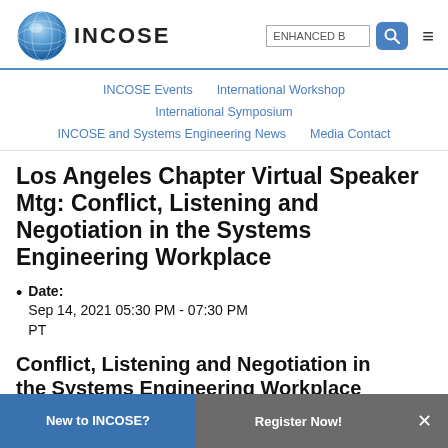[Figure (logo): INCOSE logo with globe and search bar and hamburger menu]
INCOSE Events   International Workshop   International Symposium   INCOSE and Systems Engineering News   Media Contact
Los Angeles Chapter Virtual Speaker Mtg: Conflict, Listening and Negotiation in the Systems Engineering Workplace
Date: Sep 14, 2021 05:30 PM - 07:30 PM PT
Conflict, Listening and Negotiation in the Systems Engineering Workplace